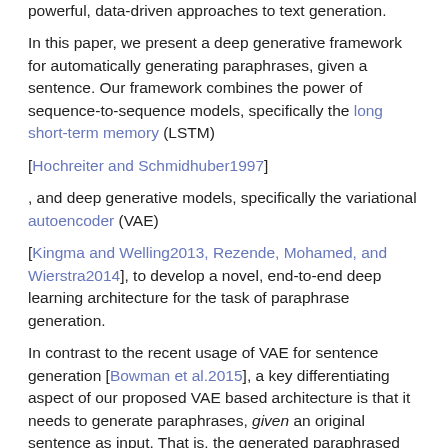powerful, data-driven approaches to text generation.
In this paper, we present a deep generative framework for automatically generating paraphrases, given a sentence. Our framework combines the power of sequence-to-sequence models, specifically the long short-term memory (LSTM)
[Hochreiter and Schmidhuber1997]
, and deep generative models, specifically the variational autoencoder (VAE)
[Kingma and Welling2013, Rezende, Mohamed, and Wierstra2014], to develop a novel, end-to-end deep learning architecture for the task of paraphrase generation.
In contrast to the recent usage of VAE for sentence generation [Bowman et al.2015], a key differentiating aspect of our proposed VAE based architecture is that it needs to generate paraphrases, given an original sentence as input. That is, the generated paraphrased version of the sentence should capture the essence of the original sentence. Therefore, unconditional sentence generation models, such as [Bowman et al.2015], are not suited for